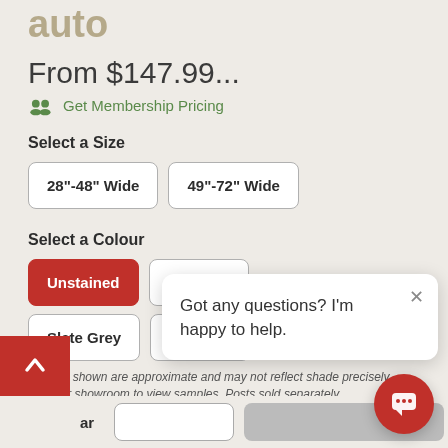auto
From $147.99...
Get Membership Pricing
Select a Size
28"-48" Wide
49"-72" Wide
Select a Colour
Unstained
Black
Slate Grey
Walnut
Colours shown are approximate and may not reflect shade precisely. Visit our showroom to view samples. Posts sold separately.
Got any questions? I'm happy to help.